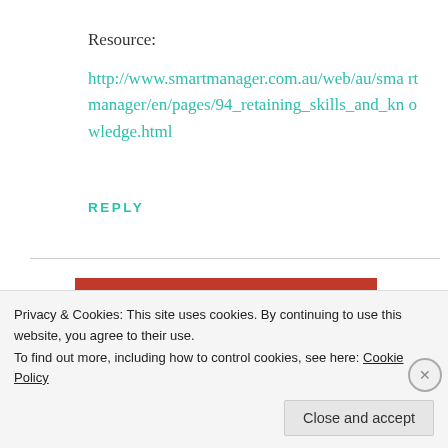Resource:
http://www.smartmanager.com.au/web/au/smartmanager/en/pages/94_retaining_skills_and_knowledge.html
REPLY
[Figure (screenshot): Red banner advertisement with text 'everyone else's.' and a 'Start reading' button on dark background, framed with red side bars.]
Privacy & Cookies: This site uses cookies. By continuing to use this website, you agree to their use.
To find out more, including how to control cookies, see here: Cookie Policy
Close and accept